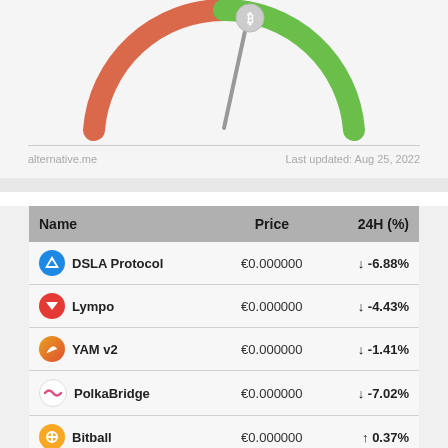[Figure (other): Crypto Fear & Greed gauge meter showing needle pointing slightly left of center, with red/orange arc on left and green arc on right, Bitcoin logo on needle tip]
alternative.me
Last updated: Aug 25, 2022
| Name | Price | 24H (%) |
| --- | --- | --- |
| DSLA Protocol | €0.000000 | ↓ -6.88% |
| Lympo | €0.000000 | ↓ -4.43% |
| YAM v2 | €0.000000 | ↓ -1.41% |
| PolkaBridge | €0.000000 | ↓ -7.02% |
| Bitball | €0.000000 | ↑ 0.37% |
| Cornichon | €0.000000 | ↓ -0.86% |
| Stacy | €0.000000 | ↑ 0.00% |